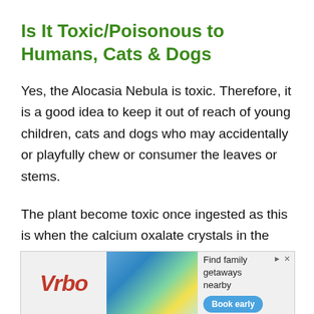Is It Toxic/Poisonous to Humans, Cats & Dogs
Yes, the Alocasia Nebula is toxic. Therefore, it is a good idea to keep it out of reach of young children, cats and dogs who may accidentally or playfully chew or consumer the leaves or stems.
The plant become toxic once ingested as this is when the calcium oxalate crystals in the plant are released.
Because they crystals are like miniscule sharp
[Figure (other): Vrbo advertisement banner with logo, vacation house photo, and 'Find family getaways nearby' text with 'Book early' button]